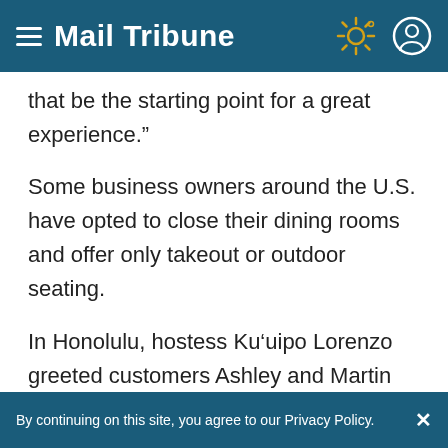Mail Tribune
that be the starting point for a great experience.”
Some business owners around the U.S. have opted to close their dining rooms and offer only takeout or outdoor seating.
In Honolulu, hostess Ku’uipo Lorenzo greeted customers Ashley and Martin Day as they arrived at the Highway Inn for authentic Hawaiian food. They were seated at a table
By continuing on this site, you agree to our Privacy Policy.